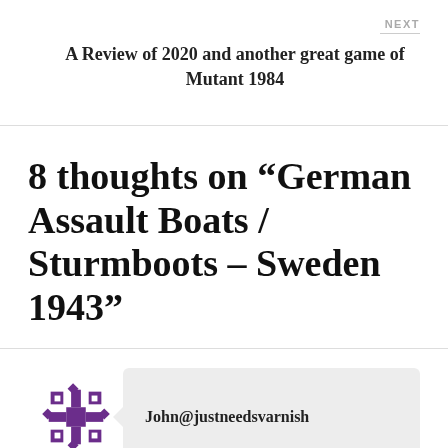NEXT
A Review of 2020 and another great game of Mutant 1984
8 thoughts on “German Assault Boats / Sturmboots – Sweden 1943”
John@justneedsvarnish